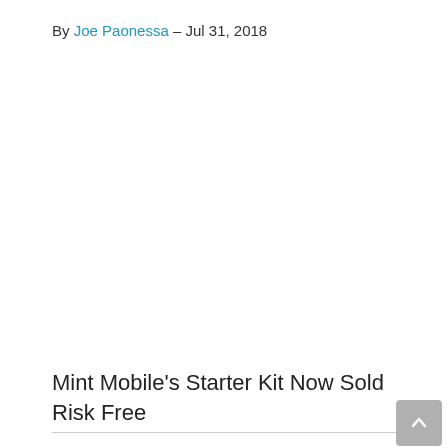By Joe Paonessa – Jul 31, 2018
Mint Mobile's Starter Kit Now Sold Risk Free
Did you know BestMVNO is available to follow for free in Google News? Follow BestMVNO in your Google News app and keep up to date on wireless.
Follow BestMVNO In Google News